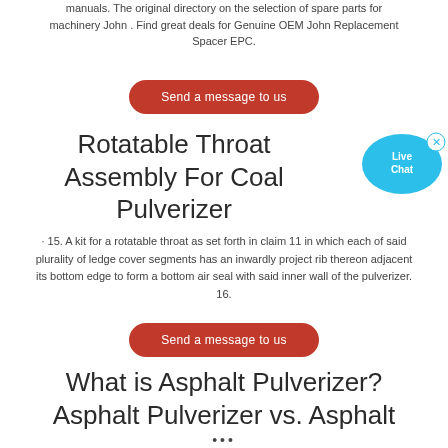manuals. The original directory on the selection of spare parts for machinery John . Find great deals for Genuine OEM John Replacement Spacer EPC.
Send a message to us
Rotatable Throat Assembly For Coal Pulverizer
[Figure (other): Live Chat bubble icon with blue speech bubble graphic and 'x' close button]
· 15. A kit for a rotatable throat as set forth in claim 11 in which each of said plurality of ledge cover segments has an inwardly project rib thereon adjacent its bottom edge to form a bottom air seal with said inner wall of the pulverizer. 16.
Send a message to us
What is Asphalt Pulverizer? Asphalt Pulverizer vs. Asphalt
...